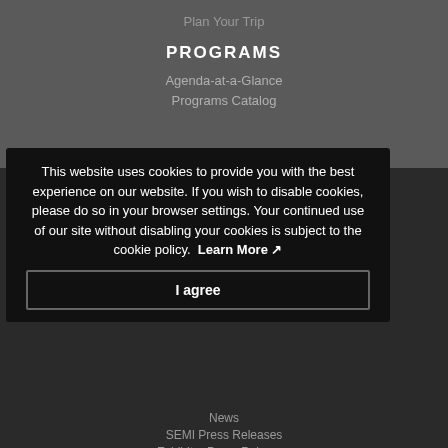Plan Your Trip
PROGRAMS
Agenda-at-a-Glance
Programs Catalog
EXHIBIT
Show Floor Plans
Exhibitors List
This website uses cookies to provide you with the best experience on our website. If you wish to disable cookies, please do so in your browser settings. Your continued use of our site without disabling your cookies is subject to the cookie policy. Learn More
I agree
News
SEMI Press Releases
Exhibitor Press Releases
Media Accreditation
Media Partners